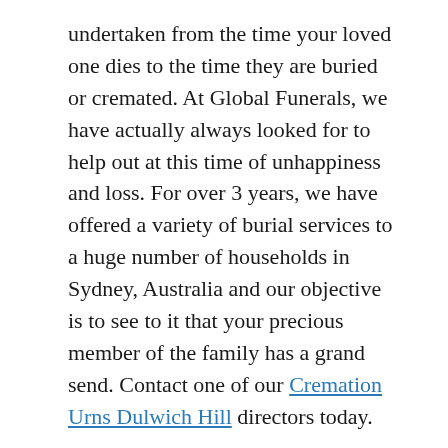undertaken from the time your loved one dies to the time they are buried or cremated. At Global Funerals, we have actually always looked for to help out at this time of unhappiness and loss. For over 3 years, we have offered a variety of burial services to a huge number of households in Sydney, Australia and our objective is to see to it that your precious member of the family has a grand send. Contact one of our Cremation Urns Dulwich Hill directors today.
Global Funerals Experience Is Unmatched
There are numerous funeral planning services